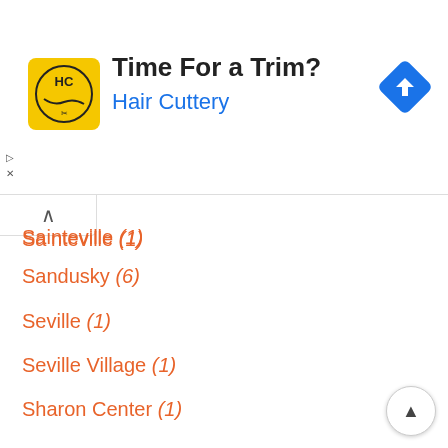[Figure (advertisement): Hair Cuttery advertisement banner with logo, 'Time For a Trim?' headline, and navigation icon]
Sainteville (1)
Sandusky (6)
Seville (1)
Seville Village (1)
Sharon Center (1)
Shiloh (1)
Shreve (1)
Sidney (1)
Solon (1)